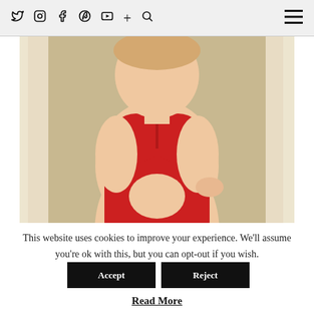Twitter Instagram Facebook Pinterest YouTube + Search [menu]
[Figure (photo): A plus-size woman wearing a red cutout one-piece swimsuit standing in front of white curtains.]
This website uses cookies to improve your experience. We'll assume you're ok with this, but you can opt-out if you wish. Accept Reject
Read More